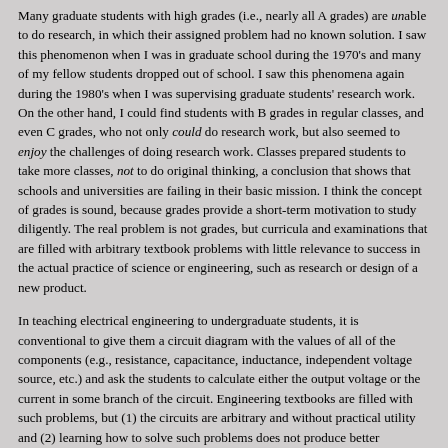Many graduate students with high grades (i.e., nearly all A grades) are unable to do research, in which their assigned problem had no known solution. I saw this phenomenon when I was in graduate school during the 1970's and many of my fellow students dropped out of school. I saw this phenomena again during the 1980's when I was supervising graduate students' research work. On the other hand, I could find students with B grades in regular classes, and even C grades, who not only could do research work, but also seemed to enjoy the challenges of doing research work. Classes prepared students to take more classes, not to do original thinking, a conclusion that shows that schools and universities are failing in their basic mission. I think the concept of grades is sound, because grades provide a short-term motivation to study diligently. The real problem is not grades, but curricula and examinations that are filled with arbitrary textbook problems with little relevance to success in the actual practice of science or engineering, such as research or design of a new product.
In teaching electrical engineering to undergraduate students, it is conventional to give them a circuit diagram with the values of all of the components (e.g., resistance, capacitance, inductance, independent voltage source, etc.) and ask the students to calculate either the output voltage or the current in some branch of the circuit. Engineering textbooks are filled with such problems, but (1) the circuits are arbitrary and without practical utility and (2) learning how to solve such problems does not produce better...